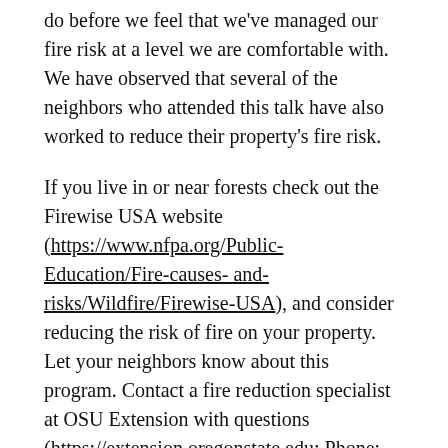do before we feel that we've managed our fire risk at a level we are comfortable with. We have observed that several of the neighbors who attended this talk have also worked to reduce their property's fire risk.
If you live in or near forests check out the Firewise USA website (https://www.nfpa.org/Public-Education/Fire-causes- and-risks/Wildfire/Firewise-USA), and consider reducing the risk of fire on your property. Let your neighbors know about this program. Contact a fire reduction specialist at OSU Extension with questions (https://extension.oregonstate.edu; Phone: 541-344-5859).